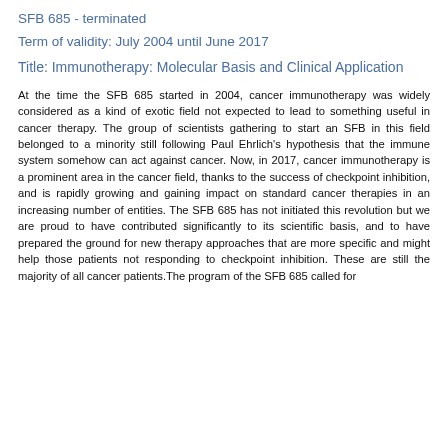SFB 685 - terminated
Term of validity: July 2004 until June 2017
Title: Immunotherapy: Molecular Basis and Clinical Application
At the time the SFB 685 started in 2004, cancer immunotherapy was widely considered as a kind of exotic field not expected to lead to something useful in cancer therapy. The group of scientists gathering to start an SFB in this field belonged to a minority still following Paul Ehrlich's hypothesis that the immune system somehow can act against cancer. Now, in 2017, cancer immunotherapy is a prominent area in the cancer field, thanks to the success of checkpoint inhibition, and is rapidly growing and gaining impact on standard cancer therapies in an increasing number of entities. The SFB 685 has not initiated this revolution but we are proud to have contributed significantly to its scientific basis, and to have prepared the ground for new therapy approaches that are more specific and might help those patients not responding to checkpoint inhibition. These are still the majority of all cancer patients.The program of the SFB 685 called for